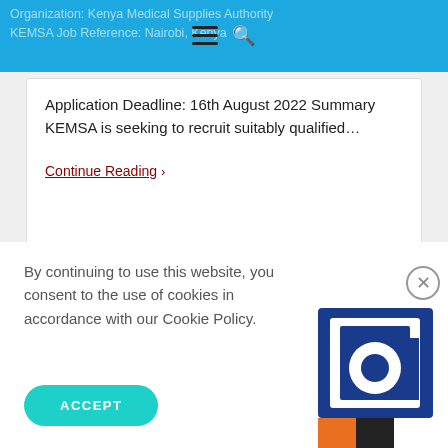Organization: Kenya Medical Supplies Authority KEMSA Job Reference: Nairobi, Kenya
Application Deadline: 16th August 2022 Summary KEMSA is seeking to recruit suitably qualified…
Continue Reading ›
[Figure (other): Empty white card / advertisement placeholder]
By continuing to use this website, you consent to the use of cookies in accordance with our Cookie Policy.
ACCEPT
[Figure (logo): Partial logo visible at bottom right — blue letter 'a' and colored bars (orange, black, white)]